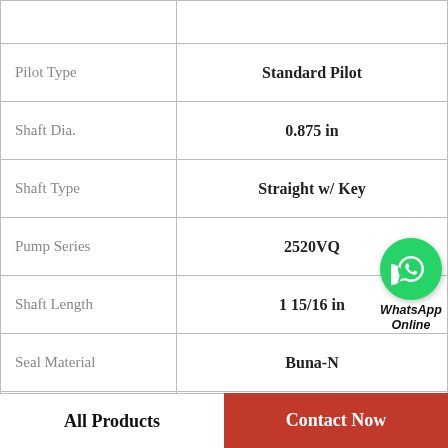| Property | Value |
| --- | --- |
| Pilot Type | Standard Pilot |
| Shaft Dia. | 0.875 in |
| Shaft Type | Straight w/ Key |
| Pump Series | 2520VQ |
| Shaft Length | 1 15/16 in |
| Seal Material | Buna-N |
| Max. RPM [Max | 2500 |
| Minor Diameter | N/A |
All Products
Contact Now